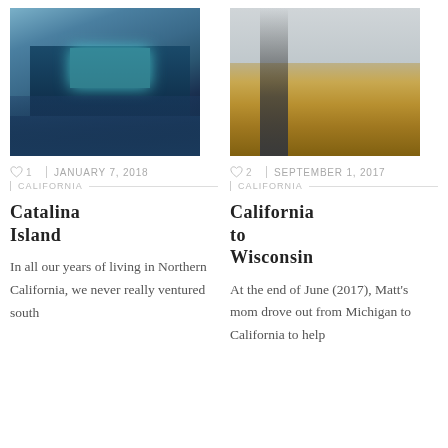[Figure (photo): Illuminated pier and waterfront at dusk with blue-toned reflections on the water]
[Figure (photo): Empty road through flat golden grasslands under an overcast sky]
♡ 1  |  JANUARY 7, 2018
| CALIFORNIA
♡ 2  |  SEPTEMBER 1, 2017
| CALIFORNIA
Catalina Island
California to Wisconsin
In all our years of living in Northern California, we never really ventured south past Big Sur. And
At the end of June (2017), Matt's mom drove out from Michigan to California to help